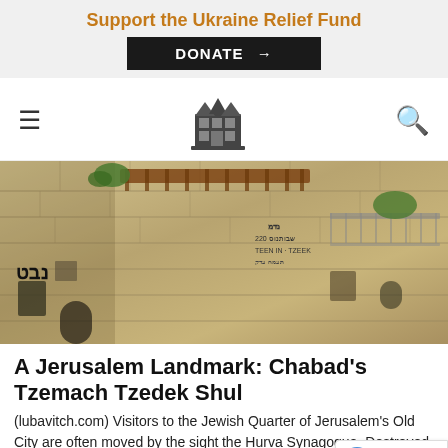Support the Ukraine Relief Fund
DONATE →
[Figure (logo): Building/house icon logo for navigation header]
[Figure (photo): Stone buildings of the Jewish Quarter in Jerusalem's Old City, with Hebrew inscriptions on the walls and a wooden trellis on a rooftop terrace]
A Jerusalem Landmark: Chabad's Tzemach Tzedek Shul
(lubavitch.com) Visitors to the Jewish Quarter of Jerusalem's Old City are often moved by the sight the Hurva Synagogue. Destroyed by the Jordani